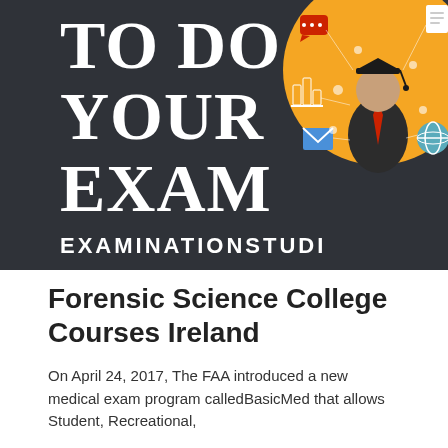[Figure (illustration): Dark banner with large bold white serif text reading 'TO DO YOUR EXAM' on the left, and an orange circle illustration of a graduation-capped figure with various icons (speech bubble, bar chart, envelope, globe) on the right. Below the banner is a dark strip with 'EXAMINATIONSTUDI' in bold white uppercase letters.]
Forensic Science College Courses Ireland
On April 24, 2017, The FAA introduced a new medical exam program calledBasicMed that allows Student, Recreational,